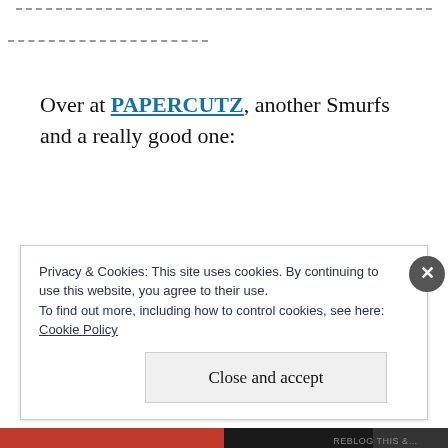Over at PAPERCUTZ, another Smurfs and a really good one:
Privacy & Cookies: This site uses cookies. By continuing to use this website, you agree to their use.
To find out more, including how to control cookies, see here:
Cookie Policy
Close and accept